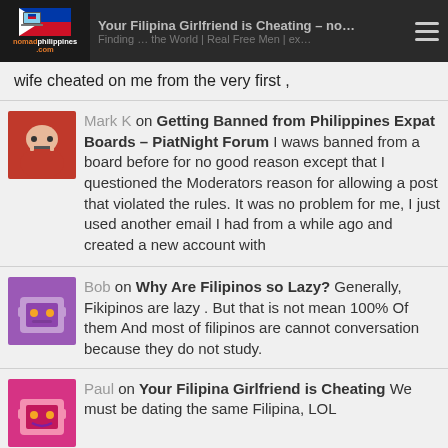Your Filipina Girlfriend is Cheating – nomadphilippines.com
wife cheated on me from the very first ,
Mark K on Getting Banned from Philippines Expat Boards – PiatNight Forum I waws banned from a board before for no good reason except that I questioned the Moderators reason for allowing a post that violated the rules. It was no problem for me, I just used another email I had from a while ago and created a new account with
Bob on Why Are Filipinos so Lazy? Generally, Fikipinos are lazy . But that is not mean 100% Of them And most of filipinos are cannot conversation because they do not study.
Paul on Your Filipina Girlfriend is Cheating We must be dating the same Filipina, LOL
Lafuan on Living in Laos, is it Boring? What are Laos Girls Like? lol how is Taipei girls being smart a problem